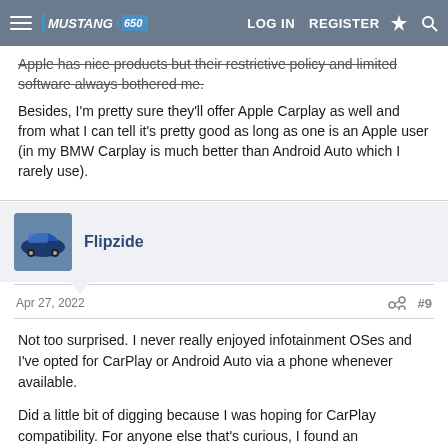MUSTANG S650 | LOG IN | REGISTER
Apple has nice products but their restrictive policy and limited software always bothered me. Besides, I'm pretty sure they'll offer Apple Carplay as well and from what I can tell it's pretty good as long as one is an Apple user (in my BMW Carplay is much better than Android Auto which I rarely use).
Flipzide
Apr 27, 2022 #9
Not too surprised. I never really enjoyed infotainment OSes and I've opted for CarPlay or Android Auto via a phone whenever available.

Did a little bit of digging because I was hoping for CarPlay compatibility. For anyone else that's curious, I found an